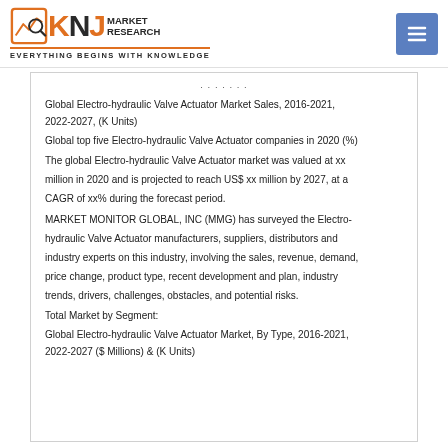KNJ MARKET RESEARCH — Everything Begins with Knowledge
Global Electro-hydraulic Valve Actuator Market Sales, 2016-2021, 2022-2027, (K Units)
Global top five Electro-hydraulic Valve Actuator companies in 2020 (%)
The global Electro-hydraulic Valve Actuator market was valued at xx million in 2020 and is projected to reach US$ xx million by 2027, at a CAGR of xx% during the forecast period.
MARKET MONITOR GLOBAL, INC (MMG) has surveyed the Electro-hydraulic Valve Actuator manufacturers, suppliers, distributors and industry experts on this industry, involving the sales, revenue, demand, price change, product type, recent development and plan, industry trends, drivers, challenges, obstacles, and potential risks.
Total Market by Segment:
Global Electro-hydraulic Valve Actuator Market, By Type, 2016-2021, 2022-2027 ($ Millions) & (K Units)